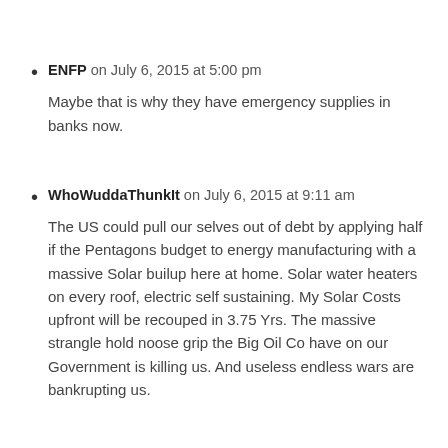ENFP on July 6, 2015 at 5:00 pm
Maybe that is why they have emergency supplies in banks now.
WhoWuddaThunkIt on July 6, 2015 at 9:11 am
The US could pull our selves out of debt by applying half if the Pentagons budget to energy manufacturing with a massive Solar builup here at home. Solar water heaters on every roof, electric self sustaining. My Solar Costs upfront will be recouped in 3.75 Yrs. The massive strangle hold noose grip the Big Oil Co have on our Government is killing us. And useless endless wars are bankrupting us.